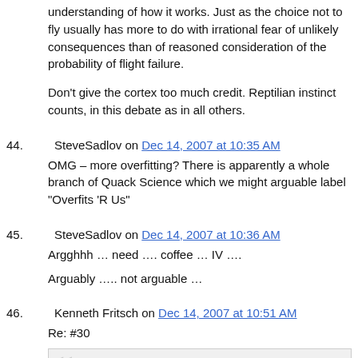understanding of how it works. Just as the choice not to fly usually has more to do with irrational fear of unlikely consequences than of reasoned consideration of the probability of flight failure.
Don't give the cortex too much credit. Reptilian instinct counts, in this debate as in all others.
44.   SteveSadlov on Dec 14, 2007 at 10:35 AM
OMG – more overfitting? There is apparently a whole branch of Quack Science which we might arguable label "Overfits 'R Us"
45.   SteveSadlov on Dec 14, 2007 at 10:36 AM
Argghhh … need …. coffee … IV ….
Arguably ….. not arguable …
46.   Kenneth Fritsch on Dec 14, 2007 at 10:51 AM
Re: #30
Read Leonard Smith.
The paper is on my bed stand as we speak and I'll have another go at it tonight, but as a retired person my days are nearly all committed with requests from SWMBO and other